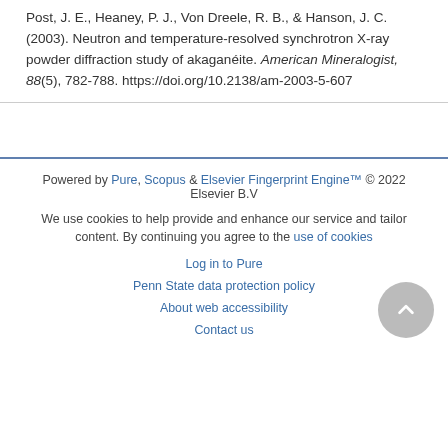Post, J. E., Heaney, P. J., Von Dreele, R. B., & Hanson, J. C. (2003). Neutron and temperature-resolved synchrotron X-ray powder diffraction study of akaganéite. American Mineralogist, 88(5), 782-788. https://doi.org/10.2138/am-2003-5-607
Powered by Pure, Scopus & Elsevier Fingerprint Engine™ © 2022 Elsevier B.V
We use cookies to help provide and enhance our service and tailor content. By continuing you agree to the use of cookies
Log in to Pure
Penn State data protection policy
About web accessibility
Contact us